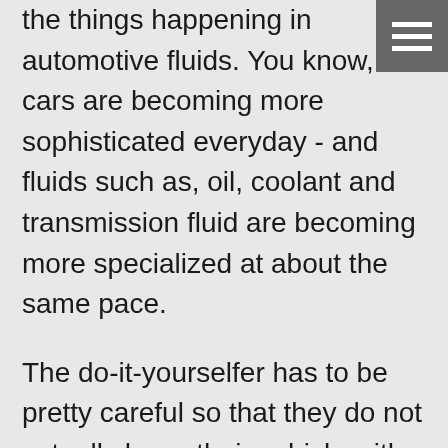the things happening in automotive fluids. You know, cars are becoming more sophisticated everyday - and fluids such as, oil, coolant and transmission fluid are becoming more specialized at about the same pace.
The do-it-yourselfer has to be pretty careful so that they do not actually harm their vehicle with the wrong type of fluid. That is why so many CA car owners rely on the advice of their service consultant to not only get the correct family of fluids, but to suggest the formulation that is best for their car and the way they drive.
Let's start with engine oil. If you have been paying